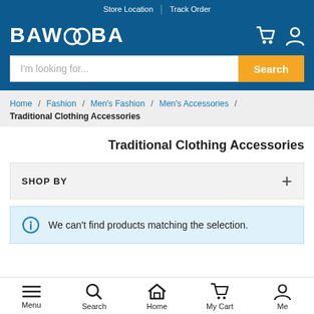Store Location | Track Order
[Figure (logo): BAWOOBA logo in white text on blue background with cart and user icons]
I'm looking for...
Search
Home / Fashion / Men's Fashion / Men's Accessories / Traditional Clothing Accessories
Traditional Clothing Accessories
SHOP BY
We can't find products matching the selection.
Menu  Search  Home  My Cart  Me